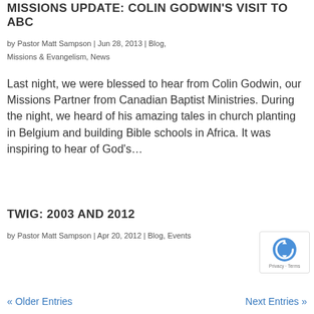MISSIONS UPDATE: COLIN GODWIN'S VISIT TO ABC
by Pastor Matt Sampson | Jun 28, 2013 | Blog, Missions & Evangelism, News
Last night, we were blessed to hear from Colin Godwin, our Missions Partner from Canadian Baptist Ministries. During the night, we heard of his amazing tales in church planting in Belgium and building Bible schools in Africa. It was inspiring to hear of God’s…
TWIG: 2003 AND 2012
by Pastor Matt Sampson | Apr 20, 2012 | Blog, Events
« Older Entries   Next Entries »